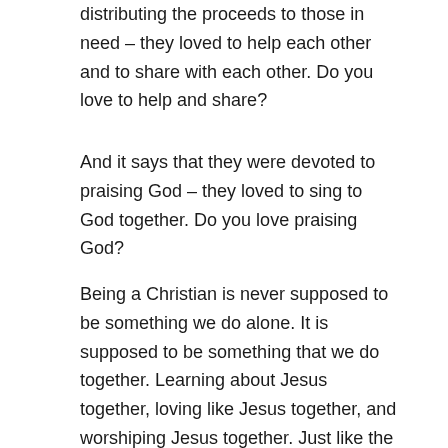distributing the proceeds to those in need – they loved to help each other and to share with each other. Do you love to help and share?
And it says that they were devoted to praising God – they loved to sing to God together. Do you love praising God?
Being a Christian is never supposed to be something we do alone. It is supposed to be something that we do together. Learning about Jesus together, loving like Jesus together, and worshiping Jesus together. Just like the first church did in Acts, lets live our lives with other Christians in our own church wherever we may live.